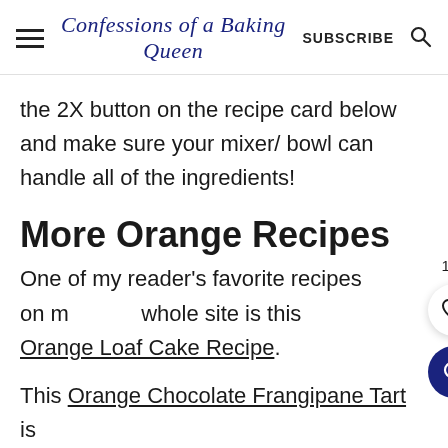Confessions of a Baking Queen  SUBSCRIBE
the 2X button on the recipe card below and make sure your mixer/ bowl can handle all of the ingredients!
More Orange Recipes
One of my reader's favorite recipes on my whole site is this Orange Loaf Cake Recipe.
This Orange Chocolate Frangipane Tart is unlike anything else and absolutely